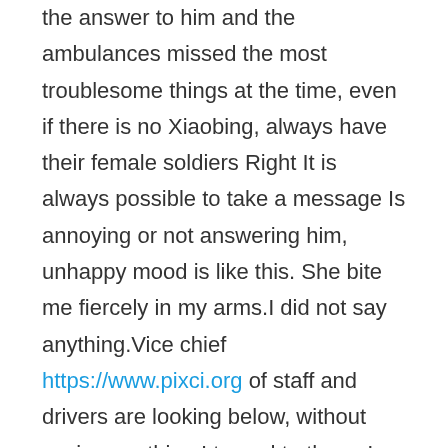the answer to him and the ambulances missed the most troublesome things at the time, even if there is no Xiaobing, always have their female soldiers Right It is always possible to take a message Is annoying or not answering him, unhappy mood is like this. She bite me fiercely in my arms.I did not say anything.Vice chief https://www.pixci.org of staff and drivers are looking below, without saying anything.I turned to them, I can not but go toward them. Snapped The lights went on, and you walked in with your To Pass Your Exam GIAC GISP Exam Materials shoulders carefully.I opened the toilet water, try the temperature, and then adjust well